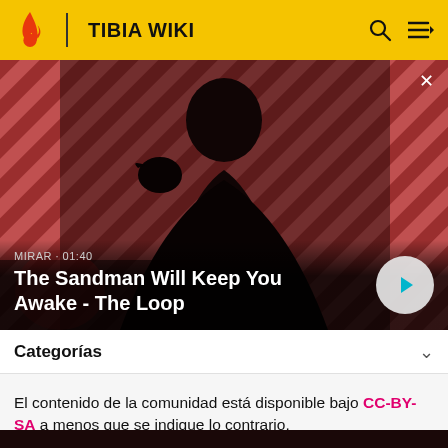TIBIA WIKI
[Figure (screenshot): Video thumbnail for 'The Sandman Will Keep You Awake - The Loop' with a dark-cloaked figure holding a raven against a red striped background. Shows MIRAR · 01:40 label and a play button.]
Categorías
El contenido de la comunidad está disponible bajo CC-BY-SA a menos que se indique lo contrario.